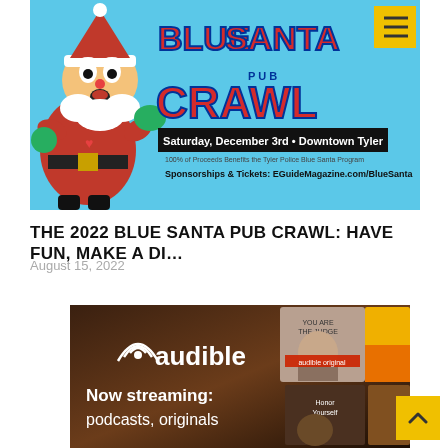[Figure (illustration): Blue Santa Pub Crawl promotional banner with cartoon Santa on cyan background. Text reads: BLUE SANTA PUB CRAWL, Saturday December 3rd • Downtown Tyler, 100% of Proceeds Benefits the Tyler Police Blue Santa Program, Sponsorships & Tickets: EGuideMagazine.com/BlueSanta]
THE 2022 BLUE SANTA PUB CRAWL: HAVE FUN, MAKE A DI…
August 15, 2022
[Figure (photo): Audible advertisement with dark brown background. Shows audible logo with signal icon. Text: Now streaming: podcasts, originals. Background shows various book/show cover images including a woman and a man.]